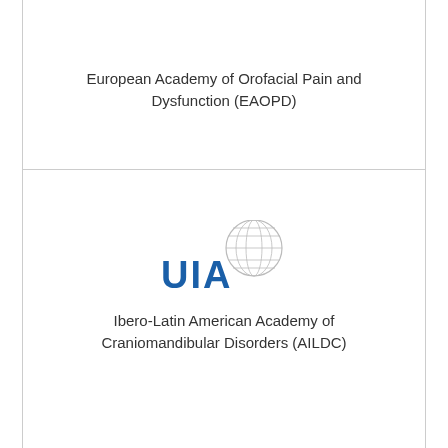European Academy of Orofacial Pain and Dysfunction (EAOPD)
[Figure (logo): UIA logo - text 'UIA' in blue with a globe/brain graphic]
Ibero-Latin American Academy of Craniomandibular Disorders (AILDC)
[Figure (logo): IASP logo - green/blue globe graphic with 'IASP' text and 'International Association for the Study of Pain' and 'Working together for pain relief']
International Association for the Study of Pain (IASP)